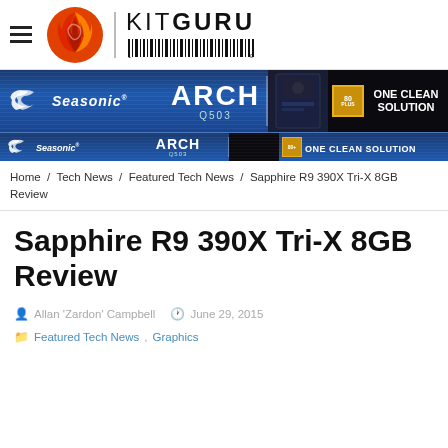[Figure (logo): KitGuru logo with flame swirl graphic, vertical divider, KITGURU text and barcode below]
[Figure (photo): Seasonic ARCH Q503 advertisement banner - blue background with PC case image, 80 Plus badge, and ONE CLEAN SOLUTION text. Repeated in smaller version below.]
Home / Tech News / Featured Tech News / Sapphire R9 390X Tri-X 8GB Review
Sapphire R9 390X Tri-X 8GB Review
Allan 'Zardon' Campbell   June 29, 2015   Featured Tech News, Graphics